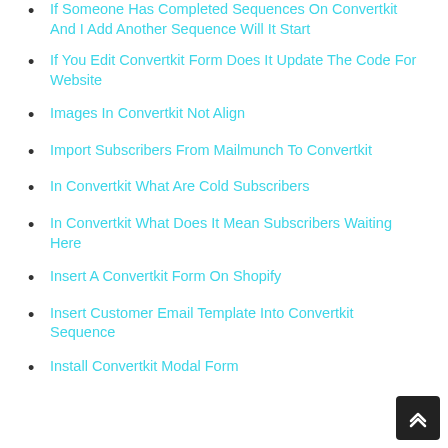If Someone Has Completed Sequences On Convertkit And I Add Another Sequence Will It Start
If You Edit Convertkit Form Does It Update The Code For Website
Images In Convertkit Not Align
Import Subscribers From Mailmunch To Convertkit
In Convertkit What Are Cold Subscribers
In Convertkit What Does It Mean Subscribers Waiting Here
Insert A Convertkit Form On Shopify
Insert Customer Email Template Into Convertkit Sequence
Install Convertkit Modal Form